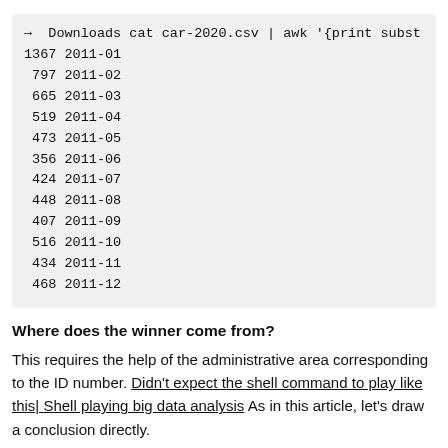→  Downloads cat car-2020.csv | awk '{print subst
1367 2011-01
 797 2011-02
 665 2011-03
 519 2011-04
 473 2011-05
 356 2011-06
 424 2011-07
 448 2011-08
 407 2011-09
 516 2011-10
 434 2011-11
 468 2011-12
Where does the winner come from?
This requires the help of the administrative area corresponding to the ID number. Didn't expect the shell command to play like this| Shell playing big data analysis As in this article, let's draw a conclusion directly.